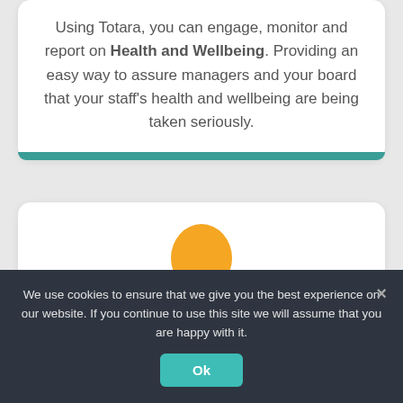Using Totara, you can engage, monitor and report on Health and Wellbeing. Providing an easy way to assure managers and your board that your staff's health and wellbeing are being taken seriously.
[Figure (logo): Totara logo - orange organic blob shape]
We use cookies to ensure that we give you the best experience on our website. If you continue to use this site we will assume that you are happy with it.